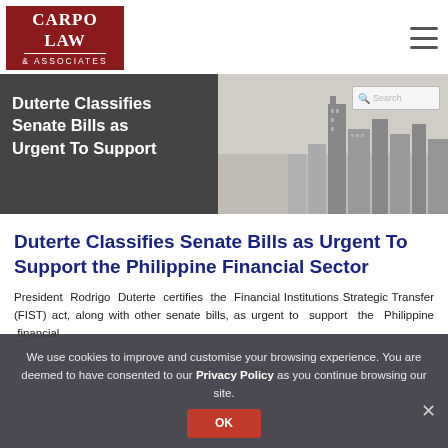[Figure (logo): Carpo Law & Associates logo — white text on dark red background]
[Figure (photo): Hero banner with dark overlay and city skyline background. Text reads: Duterte Classifies Senate Bills as Urgent To Support]
Duterte Classifies Senate Bills as Urgent To Support the Philippine Financial Sector
President Rodrigo Duterte certifies the Financial Institutions Strategic Transfer (FIST) act, along with other senate bills, as urgent to support the Philippine financial sector.
We use cookies to improve and customise your browsing experience. You are deemed to have consented to our Privacy Policy as you continue browsing our site.